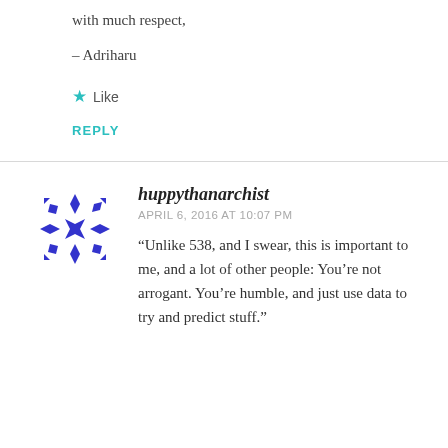with much respect,
– Adriharu
★ Like
REPLY
[Figure (logo): Blue geometric snowflake/star pattern avatar icon for user huppythanarchist]
huppythanarchist
APRIL 6, 2016 AT 10:07 PM
“Unlike 538, and I swear, this is important to me, and a lot of other people: You’re not arrogant. You’re humble, and just use data to try and predict stuff.”